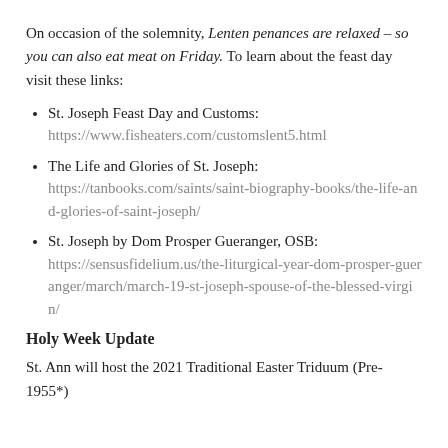On occasion of the solemnity, Lenten penances are relaxed – so you can also eat meat on Friday. To learn about the feast day visit these links:
St. Joseph Feast Day and Customs: https://www.fisheaters.com/customslent5.html
The Life and Glories of St. Joseph: https://tanbooks.com/saints/saint-biography-books/the-life-and-glories-of-saint-joseph/
St. Joseph by Dom Prosper Gueranger, OSB: https://sensusfidelium.us/the-liturgical-year-dom-prosper-gueranger/march/march-19-st-joseph-spouse-of-the-blessed-virgin/
Holy Week Update
St. Ann will host the 2021 Traditional Easter Triduum (Pre-1955*)